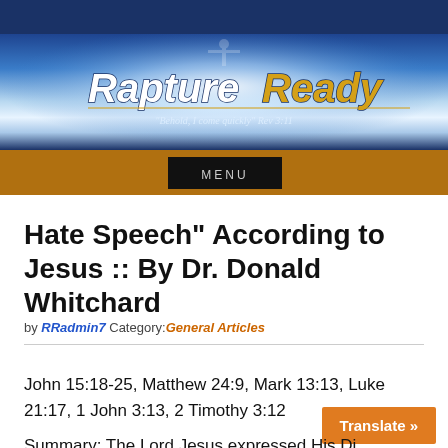[Figure (screenshot): Rapture Ready website header banner with blue sky and light rays background, logo text 'Rapture Ready' and subtitle 'Behold, I come quickly Rev 3:11', gold navigation bar with MENU button]
Hate Speech" According to Jesus :: By Dr. Donald Whitchard
by RRadmin7 Category:General Articles
John 15:18-25, Matthew 24:9, Mark 13:13, Luke 21:17, 1 John 3:13, 2 Timothy 3:12
Summary: The Lord Jesus expressed His Divine...